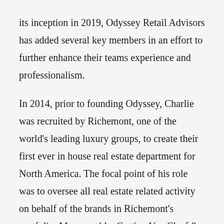its inception in 2019, Odyssey Retail Advisors has added several key members in an effort to further enhance their teams experience and professionalism.

In 2014, prior to founding Odyssey, Charlie was recruited by Richemont, one of the world's leading luxury groups, to create their first ever in house real estate department for North America. The focal point of his role was to oversee all real estate related activity on behalf of the brands in Richemont's portfolio. Most notably, Cartier, Van Cleef & Arpels, Vacheron Constantin, Panerai, Montblanc, A. Lange & Sohne, IWC, Piaget, Alaia and Chloe. It was here where Charlie became an